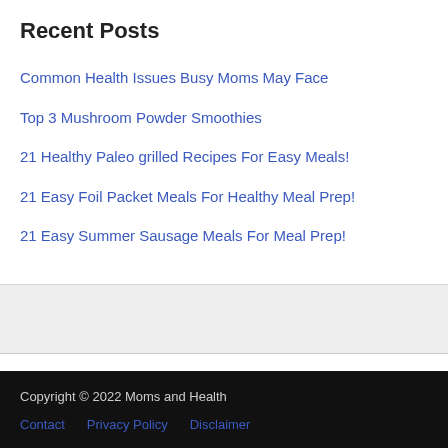Recent Posts
Common Health Issues Busy Moms May Face
Top 3 Mushroom Powder Smoothies
21 Healthy Paleo grilled Recipes For Easy Meals!
21 Easy Foil Packet Meals For Healthy Meal Prep!
21 Easy Summer Sausage Meals For Meal Prep!
Copyright © 2022 Moms and Health  Contact  Privacy Policy  Disclaimer